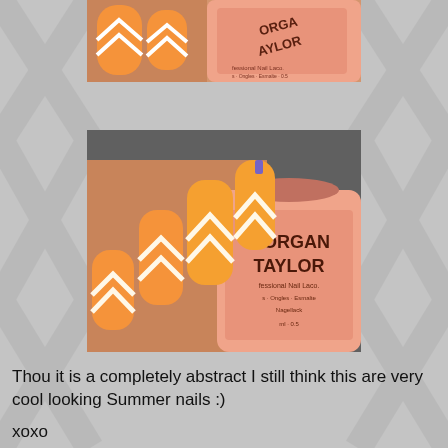[Figure (photo): Top partial photo of a hand holding a Morgan Taylor nail polish bottle in peach/salmon color, showing orange nails with geometric white chevron pattern]
[Figure (photo): Main photo of a hand holding a Morgan Taylor Professional Nail Lacquer bottle in peach/salmon color. Nails are painted orange with white geometric chevron/arrow pattern. The bottle label reads 'MORGAN TAYLOR Professional Nail Laco...' ]
Thou it is a completely abstract I still think this are very cool looking Summer nails :)
xoxo
gin